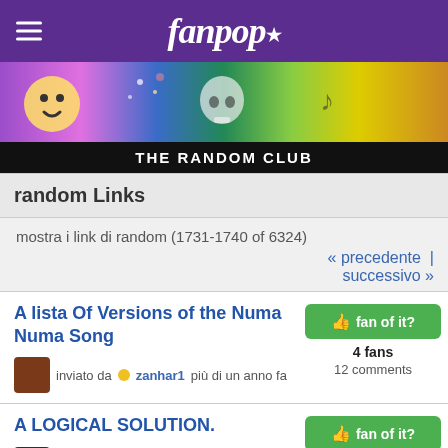fanpop
[Figure (photo): Colorful banner with various pop culture images including smiley face, fireworks, skull, green figure, musical notes, yellow background with animal.]
THE RANDOM CLUB
random Links
mostra i link di random (1731-1740 of 6324)
« precedente | successivo »
A lista Of Versions of the Numa Numa Song — inviato da zanhar1 più di un anno fa — 4 fans — 12 comments
A LOGICAL SOLUTION. — inviato da Wendy99 più di un anno fa — 4 fans — aggiungi commento
A message from the SymmaSoviets... — An apology from the SymmaSoviet invaders